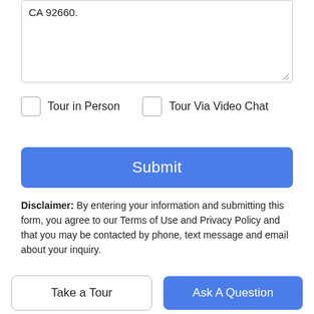CA 92660.
Tour in Person
Tour Via Video Chat
Submit
Disclaimer: By entering your information and submitting this form, you agree to our Terms of Use and Privacy Policy and that you may be contacted by phone, text message and email about your inquiry.
Based on information from California Regional Multiple Listing Service, Inc. as of 2022-09-02T14:37:18.203. This information is for your personal, non-commercial use and may not be used for
Take a Tour
Ask A Question